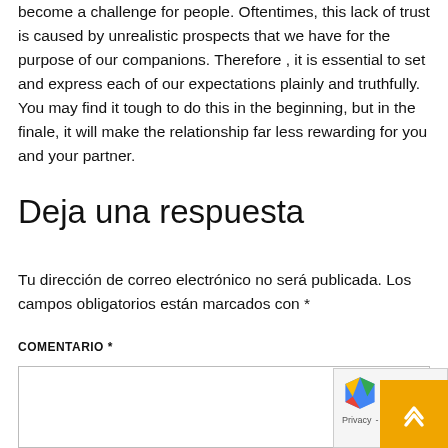become a challenge for people. Oftentimes, this lack of trust is caused by unrealistic prospects that we have for the purpose of our companions. Therefore , it is essential to set and express each of our expectations plainly and truthfully. You may find it tough to do this in the beginning, but in the finale, it will make the relationship far less rewarding for you and your partner.
Deja una respuesta
Tu dirección de correo electrónico no será publicada. Los campos obligatorios están marcados con *
COMENTARIO *